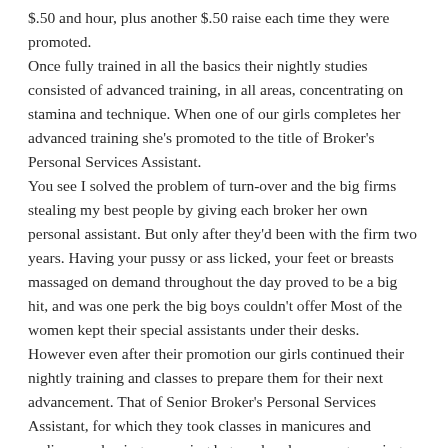$.50 and hour, plus another $.50 raise each time they were promoted.
Once fully trained in all the basics their nightly studies consisted of advanced training, in all areas, concentrating on stamina and technique. When one of our girls completes her advanced training she's promoted to the title of Broker's Personal Services Assistant.
You see I solved the problem of turn-over and the big firms stealing my best people by giving each broker her own personal assistant. But only after they'd been with the firm two years. Having your pussy or ass licked, your feet or breasts massaged on demand throughout the day proved to be a big hit, and was one perk the big boys couldn't offer Most of the women kept their special assistants under their desks. However even after their promotion our girls continued their nightly training and classes to prepare them for their next advancement. That of Senior Broker's Personal Services Assistant, for which they took classes in manicures and pedicures, shaving or waxing legs and underarms, grooming, pussy trimming, serving, and domestic duties.
If having their own special services girl wasn't enough to hold onto a good broker, when they were promoted to a Senior